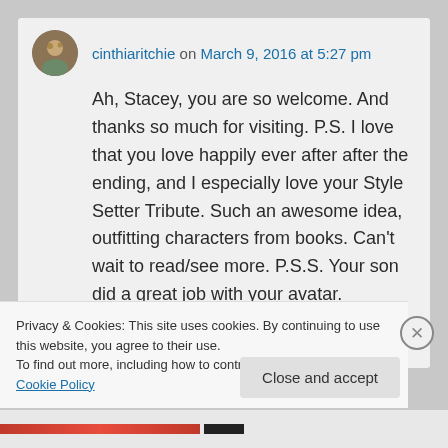cinthiaritchie on March 9, 2016 at 5:27 pm
Ah, Stacey, you are so welcome. And thanks so much for visiting. P.S. I love that you love happily ever after after the ending, and I especially love your Style Setter Tribute. Such an awesome idea, outfitting characters from books. Can't wait to read/see more. P.S.S. Your son did a great job with your avatar.
Privacy & Cookies: This site uses cookies. By continuing to use this website, you agree to their use. To find out more, including how to control cookies, see here: Cookie Policy
Close and accept